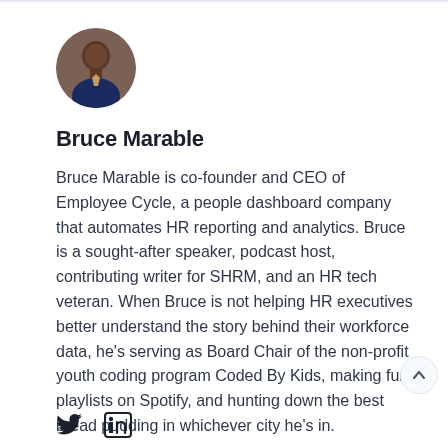[Figure (photo): Circular profile photo of Bruce Marable]
Bruce Marable
Bruce Marable is co-founder and CEO of Employee Cycle, a people dashboard company that automates HR reporting and analytics. Bruce is a sought-after speaker, podcast host, contributing writer for SHRM, and an HR tech veteran. When Bruce is not helping HR executives better understand the story behind their workforce data, he's serving as Board Chair of the non-profit youth coding program Coded By Kids, making fun playlists on Spotify, and hunting down the best bread pudding in whichever city he's in.
[Figure (illustration): Twitter and LinkedIn social media icons]